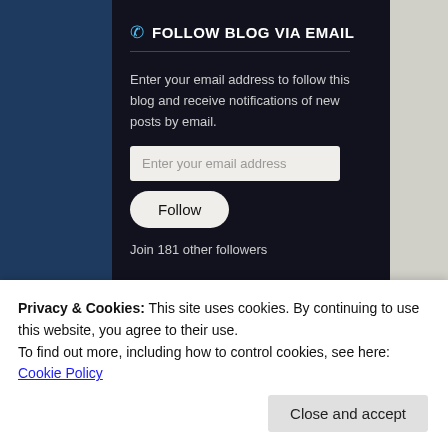FOLLOW BLOG VIA EMAIL
Enter your email address to follow this blog and receive notifications of new posts by email.
Enter your email address
Follow
Join 181 other followers
Privacy & Cookies: This site uses cookies. By continuing to use this website, you agree to their use.
To find out more, including how to control cookies, see here: Cookie Policy
Close and accept